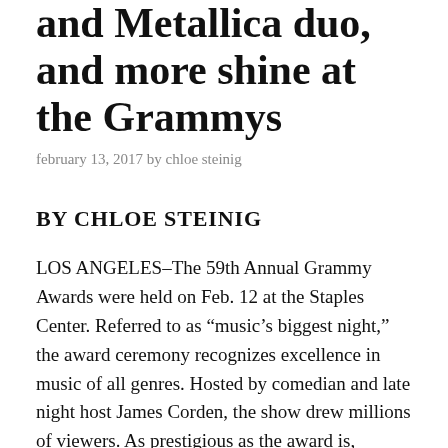and Metallica duo, and more shine at the Grammys
february 13, 2017 by chloe steinig
BY CHLOE STEINIG
LOS ANGELES–The 59th Annual Grammy Awards were held on Feb. 12 at the Staples Center. Referred to as “music’s biggest night,” the award ceremony recognizes excellence in music of all genres. Hosted by comedian and late night host James Corden, the show drew millions of viewers. As prestigious as the award is, performing during the show is impressive in it’s own right. This year’s show featured 17 performances in total, but